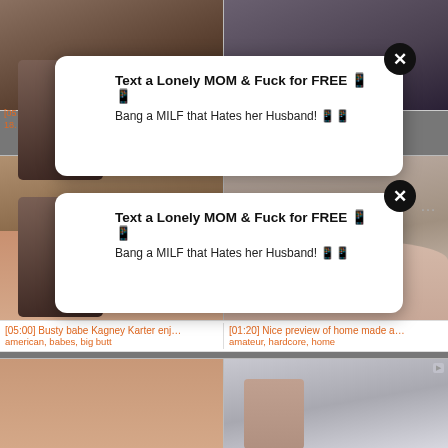[Figure (screenshot): Adult video thumbnail grid with popup advertisement overlay. Top row shows two video thumbnails. A popup ad reads 'Text a Lonely MOM & Fuck for FREE' and 'Bang a MILF that Hates her Husband!' with a close button. Second row shows two more thumbnails with same popup repeated. Below are video titles '[05:00] Busty babe Kagney Karter enj...' with tags 'american, babes, big butt' and '[01:20] Nice preview of home made a...' with tags 'amateur, hardcore, home'. Bottom row shows two more video thumbnails.]